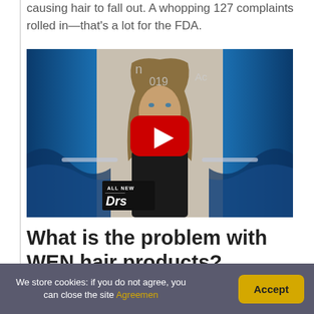causing hair to fall out. A whopping 127 complaints rolled in—that's a lot for the FDA.
[Figure (screenshot): YouTube video thumbnail showing a man with long hair, wearing black, against a blue studio background. The video appears to be from 'The Doctors' TV show. A red YouTube play button is overlaid in the center. Text in lower left reads 'ALL NEW Drs'. Partial text visible: 'n 019 Ac']
What is the problem with WEN hair products?
We store cookies: if you do not agree, you can close the site Agreemen